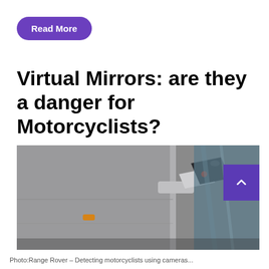Read More
Virtual Mirrors: are they a danger for Motorcyclists?
[Figure (photo): Close-up photograph of a vehicle's side mirror — a sleek, angular camera-based virtual mirror mounted on the door of a grey car, with a small red indicator light visible on the camera housing. Background shows a glass window.]
Photo: ...